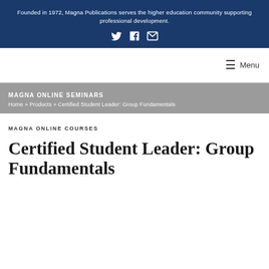Founded in 1972, Magna Publications serves the higher education community supporting professional development.
MAGNA ONLINE SEMINARS
Home » Products » Certified Student Leader: Group Fundamentals
MAGNA ONLINE COURSES
Certified Student Leader: Group Fundamentals